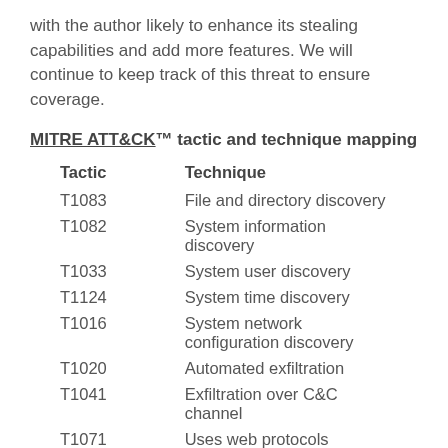with the author likely to enhance its stealing capabilities and add more features. We will continue to keep track of this threat to ensure coverage.
MITRE ATT&CK™ tactic and technique mapping
| Tactic | Technique |
| --- | --- |
| T1083 | File and directory discovery |
| T1082 | System information discovery |
| T1033 | System user discovery |
| T1124 | System time discovery |
| T1016 | System network configuration discovery |
| T1020 | Automated exfiltration |
| T1041 | Exfiltration over C&C channel |
| T1071 | Uses web protocols |
| T1105 | Downloads additional files |